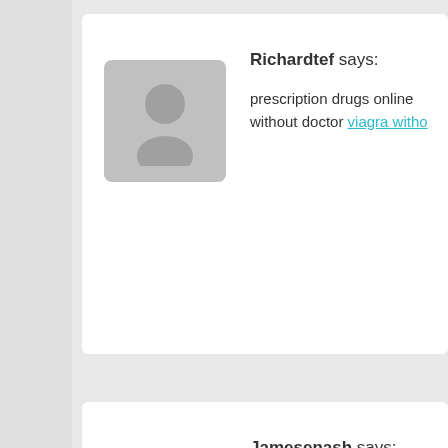Richardtef says:
prescription drugs online without doctor viagra witho...
Jamesenash says:
ed trial pack over the counter erectile dysfunction pill...
Klik Sumber Daya says:
Excellent blog post. I certainly appreciate this websit...